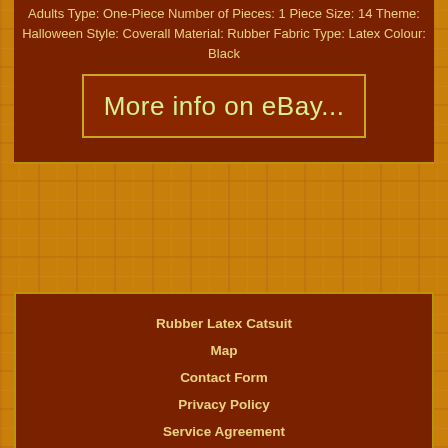Adults Type: One-Piece Number of Pieces: 1 Piece Size: 14 Theme: Halloween Style: Coverall Material: Rubber Fabric Type: Latex Colour: Black
[Figure (other): Button/link styled box with text 'More info on eBay...' in handwritten-style font on dark brown background with gold border]
Rubber Latex Catsuit
Map
Contact Form
Privacy Policy
Service Agreement